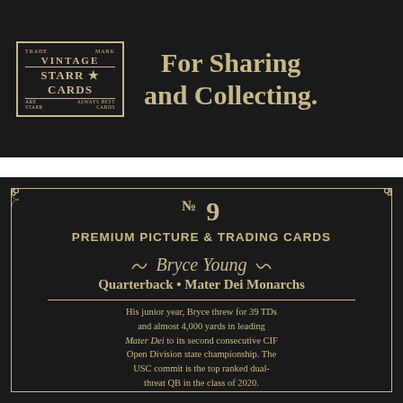[Figure (logo): Vintage Starr Cards logo in a bordered box with trade mark text]
For Sharing and Collecting.
[Figure (illustration): Vintage trading card label design with ornate border, corner decorations, number No 9, premium picture & trading cards text, Bryce Young quarterback Mater Dei Monarchs, and biography text]
No 9
PREMIUM PICTURE & TRADING CARDS
Bryce Young
Quarterback • Mater Dei Monarchs
His junior year, Bryce threw for 39 TDs and almost 4,000 yards in leading Mater Dei to its second consecutive CIF Open Division state championship. The USC commit is the top ranked dual-threat QB in the class of 2020.